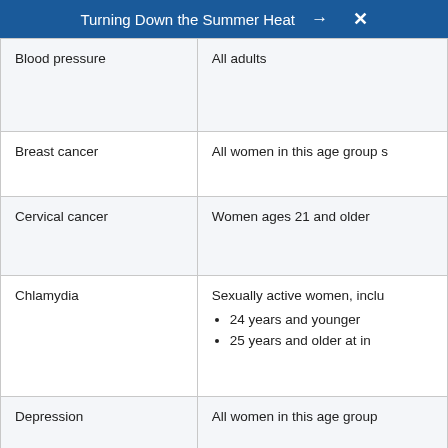Turning Down the Summer Heat → X
| Condition | Who should be screened |
| --- | --- |
| Blood pressure | All adults |
| Breast cancer | All women in this age group s |
| Cervical cancer | Women ages 21 and older |
| Chlamydia | Sexually active women, inclu
• 24 years and younger
• 25 years and older at in |
| Depression | All women in this age group |
| Diabetes mellitus, type 2 | Adults with no symptoms wh |
| Gonorrhea | Sexually active women, inclu |